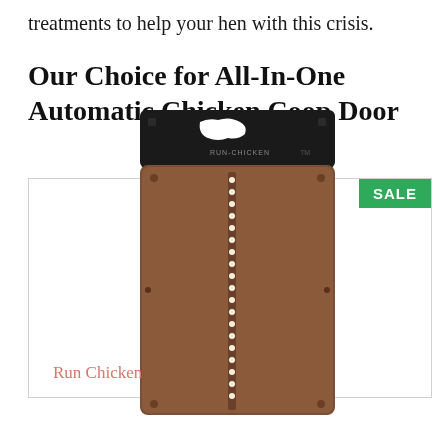treatments to help your hen with this crisis.
Our Choice for All-In-One Automatic Chicken Coop Door
[Figure (photo): Product photo of a Run Chicken automatic chicken coop door. The door has a brown/bronze colored aluminum panel with a black motorized header unit at the top displaying the Run Chicken logo with a map silhouette. A vertical LED strip runs down the center of the door. A green SALE badge is in the top right corner of the product listing box.]
Run Chicken